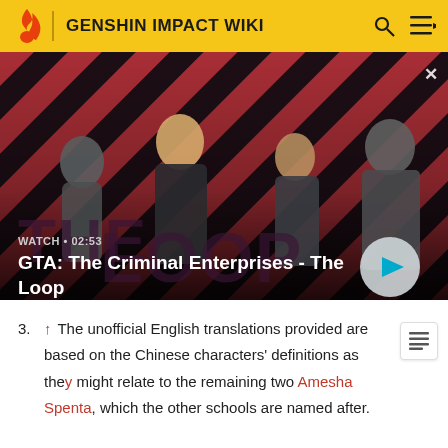GENSHIN IMPACT WIKI
[Figure (screenshot): Video thumbnail for GTA: The Criminal Enterprises - The Loop. Shows four characters on a red/dark diagonal striped background. A play button is visible bottom right. Text overlay reads WATCH • 02:53 and GTA: The Criminal Enterprises - The Loop.]
3. ↑ The unofficial English translations provided are based on the Chinese characters' definitions as they might relate to the remaining two Amesha Spenta, which the other schools are named after.